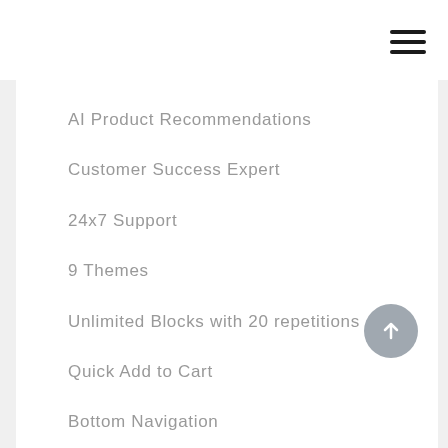[Figure (other): Hamburger menu icon (three horizontal black lines) in top right corner]
AI Product Recommendations
Customer Success Expert
24x7 Support
9 Themes
Unlimited Blocks with 20 repetitions
Quick Add to Cart
Bottom Navigation
[Figure (other): Scroll-to-top button: grey circle with white upward arrow]